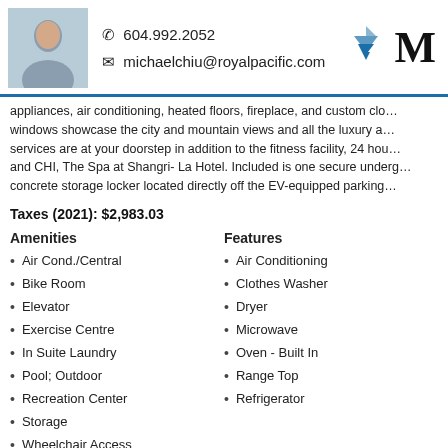604.992.2052 | michaelchiu@royalpacific.com
appliances, air conditioning, heated floors, fireplace, and custom clo... windows showcase the city and mountain views and all the luxury a... services are at your doorstep in addition to the fitness facility, 24 hou... and CHI, The Spa at Shangri- La Hotel. Included is one secure underg... concrete storage locker located directly off the EV-equipped parking
Taxes (2021): $2,983.03
Amenities
Features
Air Cond./Central
Bike Room
Elevator
Exercise Centre
In Suite Laundry
Pool; Outdoor
Recreation Center
Storage
Wheelchair Access
Concierge
Air Conditioning
Clothes Washer
Dryer
Microwave
Oven - Built In
Range Top
Refrigerator